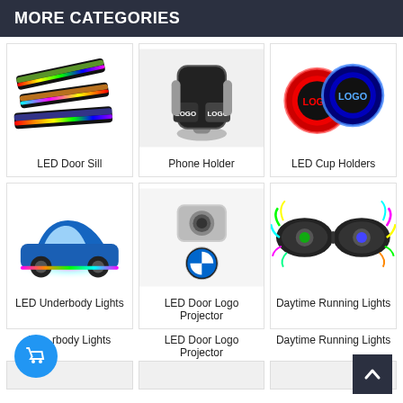MORE CATEGORIES
[Figure (photo): LED door sill strips with rainbow RGB lighting]
LED Door Sill
[Figure (photo): Car phone holder with LOGO projection]
Phone Holder
[Figure (photo): LED cup holders with LOGO light, red and blue]
LED Cup Holders
[Figure (photo): Blue car with LED underbody lights glowing]
LED Underbody Lights
[Figure (photo): LED door logo projector with BMW logo projection]
LED Door Logo Projector
[Figure (photo): Colorful daytime running lights headlights]
Daytime Running Lights